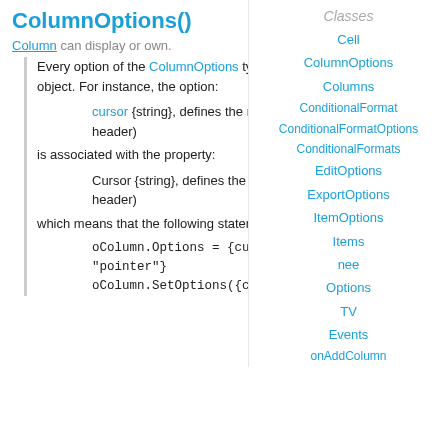ColumnOptions()
Column can display or own.
Every option of the ColumnOptions type has associated a property of the Column object. For instance, the option:
cursor {string}, defines the mouse-cursor for individual column (column's header)
is associated with the property:
Cursor {string}, defines the mouse-cursor for individual column (column's header)
which means that the following statements are equivalent:
oColumn.Options = {cursor: "pointer"}
oColumn.SetOptions({cursor:
Classes
Cell
ColumnOptions
Columns
ConditionalFormat
ConditionalFormatOptions
ConditionalFormats
EditOptions
ExportOptions
ItemOptions
Items
nee
Options
TV
Events
onAddColumn